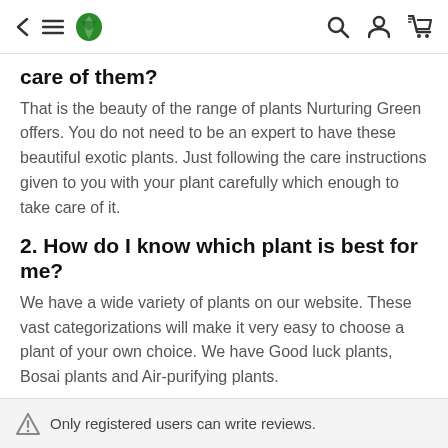< ≡ [Nurturing Green logo] [search] [user] [cart]
care of them?
That is the beauty of the range of plants Nurturing Green offers. You do not need to be an expert to have these beautiful exotic plants. Just following the care instructions given to you with your plant carefully which enough to take care of it.
2. How do I know which plant is best for me?
We have a wide variety of plants on our website. These vast categorizations will make it very easy to choose a plant of your own choice. We have Good luck plants, Bosai plants and Air-purifying plants.
Only registered users can write reviews.